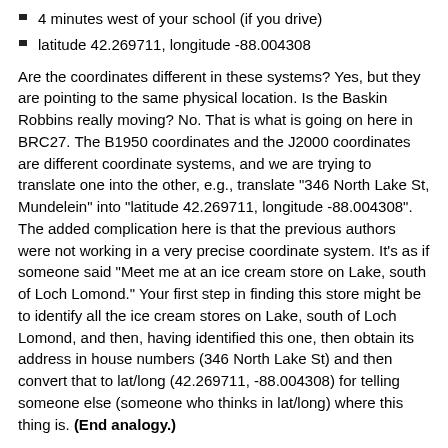4 minutes west of your school (if you drive)
latitude 42.269711, longitude -88.004308
Are the coordinates different in these systems? Yes, but they are pointing to the same physical location. Is the Baskin Robbins really moving? No. That is what is going on here in BRC27. The B1950 coordinates and the J2000 coordinates are different coordinate systems, and we are trying to translate one into the other, e.g., translate "346 North Lake St, Mundelein" into "latitude 42.269711, longitude -88.004308". The added complication here is that the previous authors were not working in a very precise coordinate system. It's as if someone said "Meet me at an ice cream store on Lake, south of Loch Lomond." Your first step in finding this store might be to identify all the ice cream stores on Lake, south of Loch Lomond, and then, having identified this one, then obtain its address in house numbers (346 North Lake St) and then convert that to lat/long (42.269711, -88.004308) for telling someone else (someone who thinks in lat/long) where this thing is. (End analogy.)
From what you transcribed into the wiki (you may have had more notes that you did not copy into the wiki), what I understand you to have written is that (a) that the objects had the same coordinates in 1950 as they do in 2000, and (b) you did not tell me what the 2mass match was. Since the goal of this is to get the 2MASS match, it is hard for me to find the 2MASS match if you do not tell me what it is. (In the analogy above, you told me "yep, there's an ice cream store on Lake, south of Loch Lomond", but you